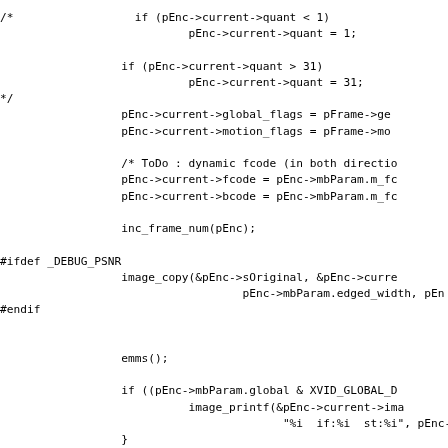/*                  if (pEnc->current->quant < 1)
                            pEnc->current->quant = 1;

                  if (pEnc->current->quant > 31)
                            pEnc->current->quant = 31;
*/
                  pEnc->current->global_flags = pFrame->ge
                  pEnc->current->motion_flags = pFrame->mo

                  /* ToDo : dynamic fcode (in both directio
                  pEnc->current->fcode = pEnc->mbParam.m_fc
                  pEnc->current->bcode = pEnc->mbParam.m_fc

                  inc_frame_num(pEnc);

#ifdef _DEBUG_PSNR
                  image_copy(&pEnc->sOriginal, &pEnc->curre
                                    pEnc->mbParam.edged_width, pEn
#endif


                  emms();

                  if ((pEnc->mbParam.global & XVID_GLOBAL_D
                            image_printf(&pEnc->current->ima
                                          "%i  if:%i  st:%i", pEnc-
                  }

                  /* %%%%%%%%%%%%%%%%%%%%%%%%%%%%%%%%%%%%%%%%%%
                   * Luminance masking